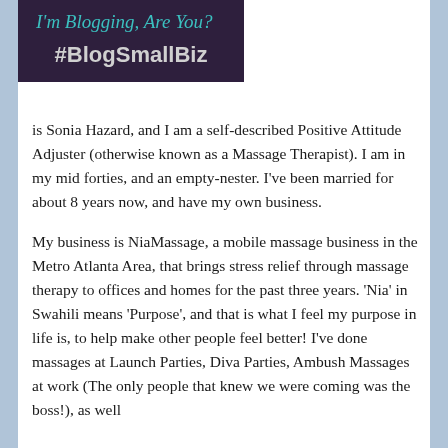[Figure (other): Banner image with teal italic text 'I'm Blogging, Are You?' on dark purple background, with bold hashtag '#BlogSmallBiz' in gray below]
is Sonia Hazard, and I am a self-described Positive Attitude Adjuster (otherwise known as a Massage Therapist). I am in my mid forties, and an empty-nester. I've been married for about 8 years now, and have my own business.
My business is NiaMassage, a mobile massage business in the Metro Atlanta Area, that brings stress relief through massage therapy to offices and homes for the past three years. 'Nia' in Swahili means 'Purpose', and that is what I feel my purpose in life is, to help make other people feel better! I've done massages at Launch Parties, Diva Parties, Ambush Massages at work (The only people that knew we were coming was the boss!), as well